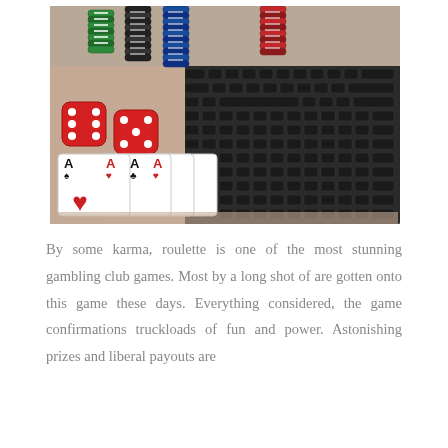[Figure (photo): Photo of casino items on a laptop keyboard: red dice, poker chips (green, black, blue, red), and four playing cards showing four aces (spades, hearts, clubs, hearts) with a heart symbol visible.]
By some karma, roulette is one of the most stunning gambling club games. Most by a long shot of are gotten onto this game these days. Everything considered, the game confirmations truckloads of fun and power. Astonishing prizes and liberal payouts are